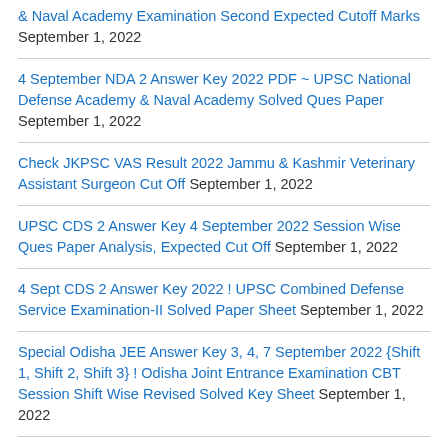& Naval Academy Examination Second Expected Cutoff Marks September 1, 2022
4 September NDA 2 Answer Key 2022 PDF ~ UPSC National Defense Academy & Naval Academy Solved Ques Paper September 1, 2022
Check JKPSC VAS Result 2022 Jammu & Kashmir Veterinary Assistant Surgeon Cut Off September 1, 2022
UPSC CDS 2 Answer Key 4 September 2022 Session Wise Ques Paper Analysis, Expected Cut Off September 1, 2022
4 Sept CDS 2 Answer Key 2022 ! UPSC Combined Defense Service Examination-II Solved Paper Sheet September 1, 2022
Special Odisha JEE Answer Key 3, 4, 7 September 2022 {Shift 1, Shift 2, Shift 3} ! Odisha Joint Entrance Examination CBT Session Shift Wise Revised Solved Key Sheet September 1, 2022
4 Sept JIPMER Group B & C Answer Key 2022 PDF Download {Provisional Sheet} September 1, 2022
Special OJEE Answer Key 3, 4, 7 Sept 2022 Shift Wise ! Odisha JEE Entrance Exam Solved Question Paper August 31, 2022
CUET PG Answer Key 2022 Download For 01, 02, 03, 04, 05, 06, 07